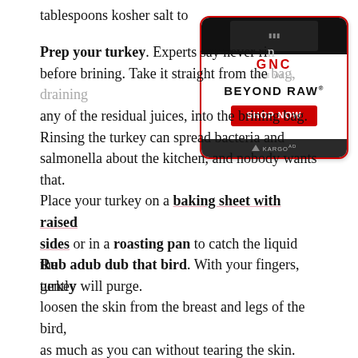tablespoons kosher salt to 4 teaspoons suga…
[Figure (other): GNC Beyond Raw advertisement with red border, product image, GNC Live Well logo, BEYOND RAW text, red SHOP NOW button, and dark KARGO bar at bottom.]
Prep your turkey. Experts say never ri… before brining. Take it straight from the bag, draining any of the residual juices, into the brining bag. Rinsing the turkey can spread bacteria and salmonella about the kitchen, and nobody wants that. Place your turkey on a baking sheet with raised sides or in a roasting pan to catch the liquid the turkey will purge.
Rub adub dub that bird. With your fingers, gently loosen the skin from the breast and legs of the bird, as much as you can without tearing the skin. Rub the salt mix under and on top of the skin and inside the cavity of the bird.